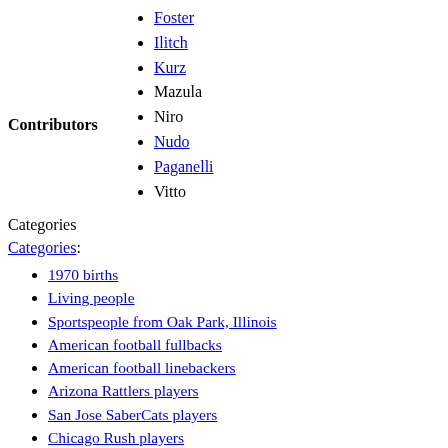Foster
Ilitch
Kurz
Mazula
Niro
Nudo
Paganelli
Vitto
Categories
Categories:
1970 births
Living people
Sportspeople from Oak Park, Illinois
American football fullbacks
American football linebackers
Arizona Rattlers players
San Jose SaberCats players
Chicago Rush players
Indoor Football League coaches
Chicago Rush coaches
Los Angeles Kiss coaches
College of DuPage Chaparrals football players